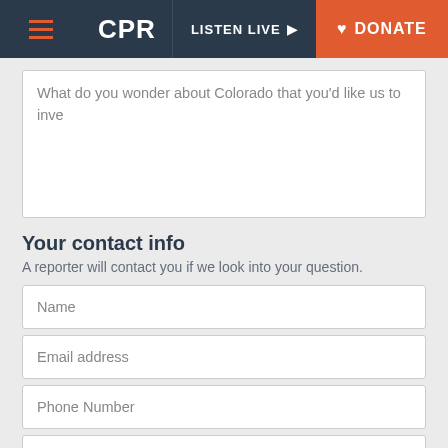CPR | LISTEN LIVE | DONATE
What do you wonder about Colorado that you'd like us to inve
Your contact info
A reporter will contact you if we look into your question.
Name
Email address
Phone Number
Zip Code